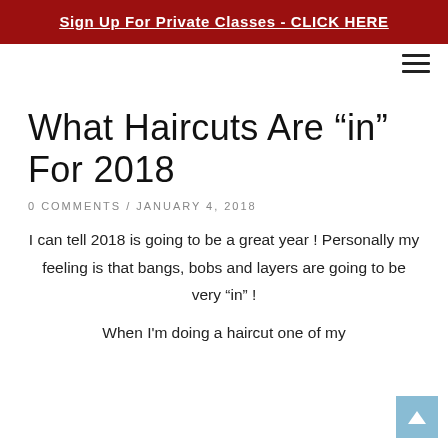Sign Up For Private Classes - CLICK HERE
What Haircuts Are “in” For 2018
0 COMMENTS / JANUARY 4, 2018
I can tell 2018 is going to be a great year ! Personally my feeling is that bangs, bobs and layers are going to be very "in" !
When I'm doing a haircut one of my